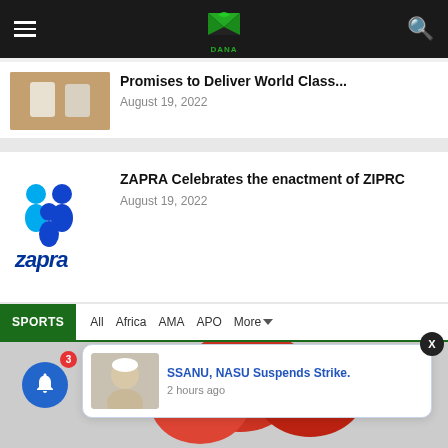Navigation header with hamburger menu, logo, and search icon
Promises to Deliver World Class...
August 19, 2022
ZAPRA Celebrates the enactment of ZIPRC
August 19, 2022
SPORTS
All  Africa  AMA  APO  More
[Figure (photo): Sports image with red boxing gloves in background]
SSANU, NASU Suspends Strike. 2 hours ago